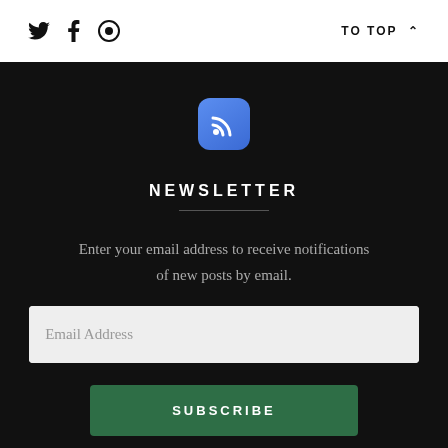Twitter, Facebook, Share icons | TO TOP ▲
[Figure (logo): RSS feed icon — blue rounded square with white WiFi/RSS signal symbol]
NEWSLETTER
Enter your email address to receive notifications of new posts by email.
Email Address (input field)
SUBSCRIBE (button)